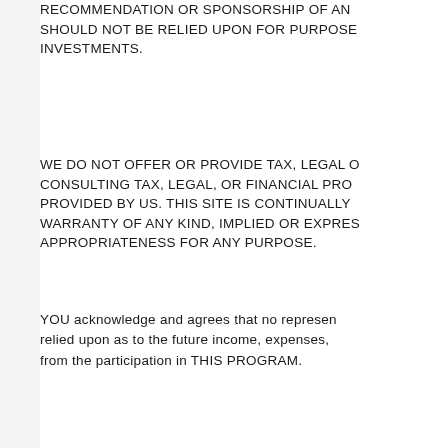RECOMMENDATION OR SPONSORSHIP OF AN... SHOULD NOT BE RELIED UPON FOR PURPOSE... INVESTMENTS.
WE DO NOT OFFER OR PROVIDE TAX, LEGAL O... CONSULTING TAX, LEGAL, OR FINANCIAL PRO... PROVIDED BY US. THIS SITE IS CONTINUALLY... WARRANTY OF ANY KIND, IMPLIED OR EXPRES... APPROPRIATENESS FOR ANY PURPOSE.
YOU acknowledge and agrees that no represen... relied upon as to the future income, expenses,... from the participation in THIS PROGRAM.